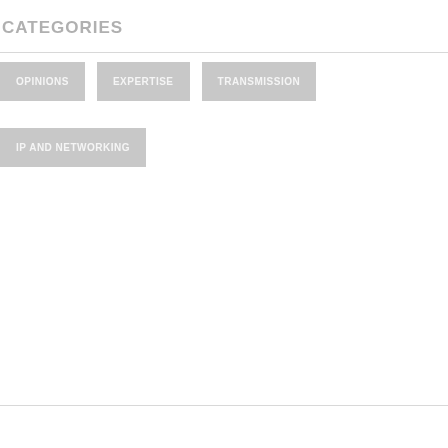CATEGORIES
OPINIONS
EXPERTISE
TRANSMISSION
IP AND NETWORKING